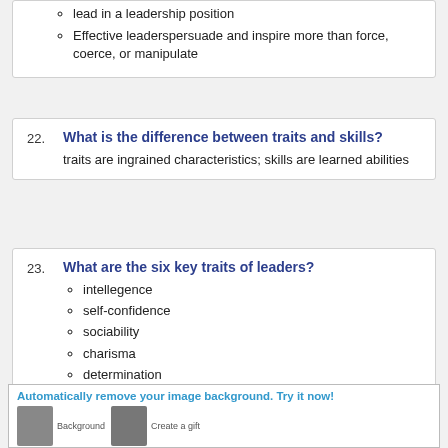lead in a leadership position
Effective leaderspersuade and inspire more than force, coerce, or manipulate
22.
What is the difference between traits and skills?
traits are ingrained characteristics; skills are learned abilities
23.
What are the six key traits of leaders?
intellegence
self-confidence
sociability
charisma
determination
personal integrity
[Figure (other): Advertisement banner: Automatically remove your image background. Try it now! with dog photo examples labeled Background and Create a gift]